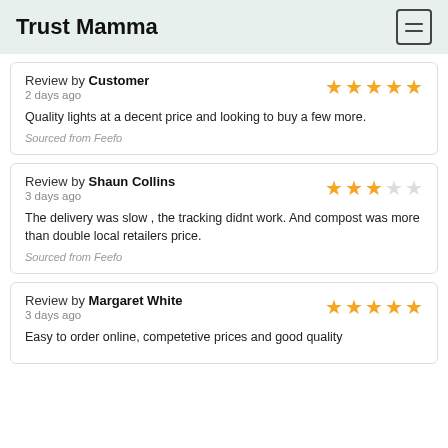Trust Mamma
Review by Customer
2 days ago
Quality lights at a decent price and looking to buy a few more.
Sourced from Feefo
Review by Shaun Collins
3 days ago
The delivery was slow , the tracking didnt work. And compost was more than double local retailers price.
Sourced from Feefo
Review by Margaret White
3 days ago
Easy to order online, competetive prices and good quality